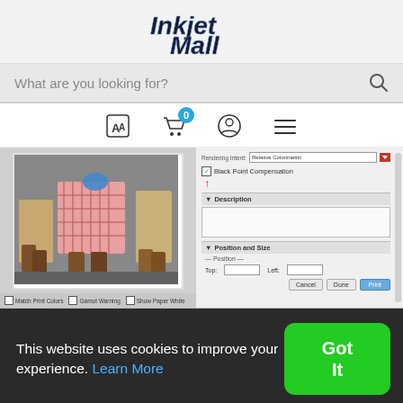[Figure (logo): InkjetMall logo in stylized italic font]
What are you looking for?
[Figure (screenshot): Website navigation icons: language selector, shopping cart with badge 0, user profile icon, and hamburger menu]
[Figure (screenshot): Screenshot of a photo editing print dialog with a photo of people's legs and a software dialog panel showing Black Point Compensation checkbox, Description section, Position and Size section with Cancel, Done, and Print buttons]
This website uses cookies to improve your experience. Learn More
Got It